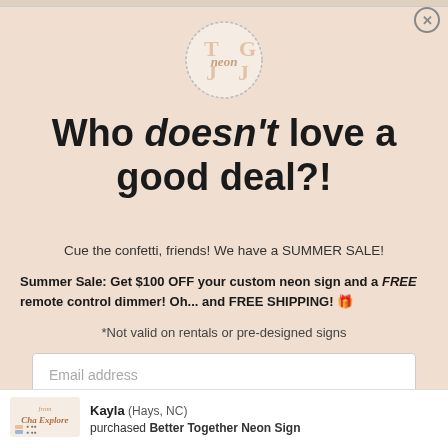[Figure (logo): Circular logo with TLG and neon script text in the center, outlined circle border]
Who doesn't love a good deal?!
Cue the confetti, friends! We have a SUMMER SALE!
Summer Sale: Get $100 OFF your custom neon sign and a FREE remote control dimmer! Oh... and FREE SHIPPING! 🎉
*Not valid on rentals or pre-designed signs
Email address
Give me the code!
Kayla (Hays, NC) purchased Better Together Neon Sign